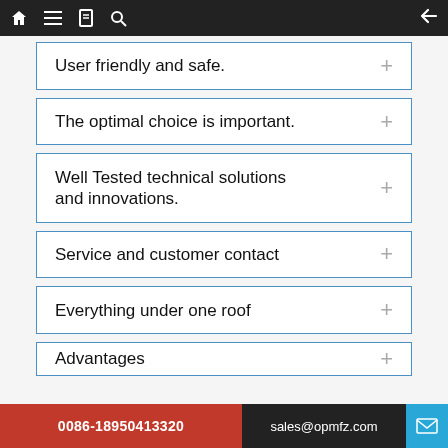Navigation bar with home, menu, book, search icons and back arrow
User friendly and safe.
The optimal choice is important.
Well Tested technical solutions and innovations.
Service and customer contact
Everything under one roof
Advantages
0086-18950413320    sales@opmfz.com